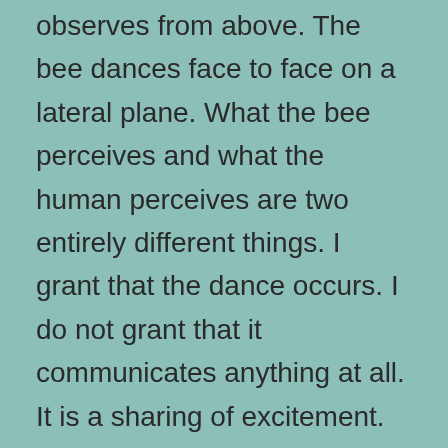observes from above. The bee dances face to face on a lateral plane. What the bee perceives and what the human perceives are two entirely different things. I grant that the dance occurs. I do not grant that it communicates anything at all. It is a sharing of excitement. The knowledge of where the nectar or whatever is is deeper than that. The colony is a manifestation of generations integrated with the patterns of the environment. There is a great mind at play that humans are generally incapable of comprehending.